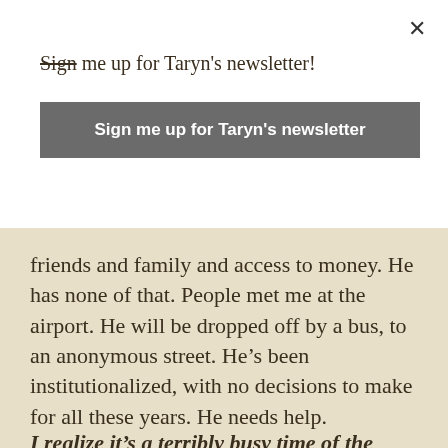Sign me up for Taryn's newsletter!
Sign me up for Taryn's newsletter
friends and family and access to money. He has none of that. People met me at the airport. He will be dropped off by a bus, to an anonymous street. He’s been institutionalized, with no decisions to make for all these years. He needs help.
I realize it’s a terribly busy time of the year, but please, if you live in Southern California or if you have contacts there, please contact me with an idea, any idea, of a resource for Chester.